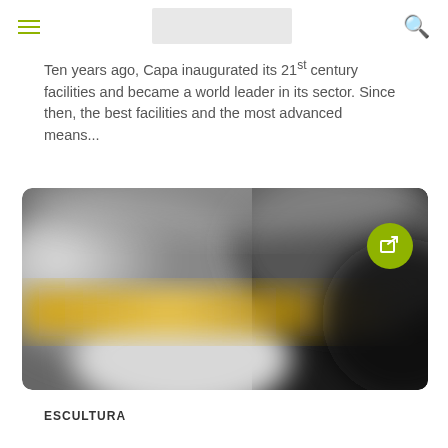[hamburger menu] [logo/image placeholder] [search icon]
Ten years ago, Capa inaugurated its 21st century facilities and became a world leader in its sector. Since then, the best facilities and the most advanced means...
[Figure (photo): Blurred photograph showing industrial or artistic scene with yellow/golden horizontal band across middle, dark areas on right, light/white diffuse areas on left, with a green external-link button in the upper right corner of the image card]
ESCULTURA